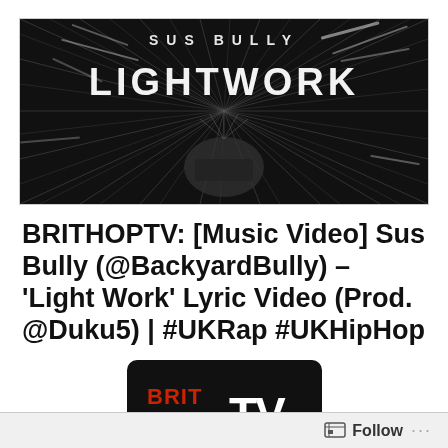[Figure (photo): Black and white music artwork showing 'Sus Bully - LIGHTWORK' text with an explosive radial blur effect in the background]
BRITHOPTV: [Music Video] Sus Bully (@BackyardBully) – 'Light Work' Lyric Video (Prod. @Duku5) | #UKRap #UKHipHop
[Figure (logo): BritHopTV logo — white 'TV' text next to colorful 'BRIT HOP' letters in red, blue, and white on a dark background with rounded rectangle border]
Follow